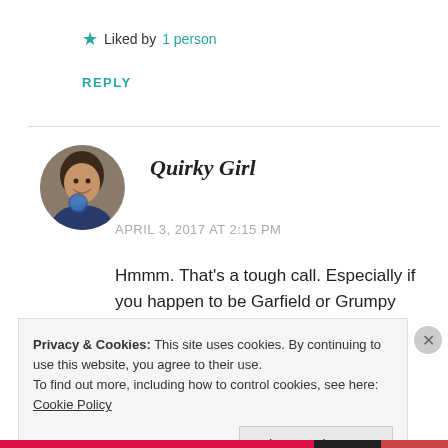★ Liked by 1 person
REPLY
[Figure (photo): Circular avatar photo of a smiling woman holding a blue ornament]
Quirky Girl
APRIL 3, 2017 AT 2:15 PM
Hmmm. That's a tough call. Especially if you happen to be Garfield or Grumpy Cat.
Privacy & Cookies: This site uses cookies. By continuing to use this website, you agree to their use. To find out more, including how to control cookies, see here: Cookie Policy
Close and accept